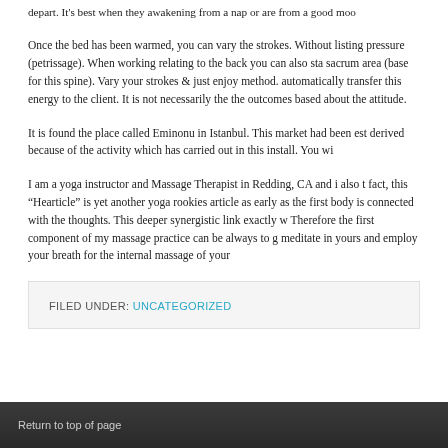depart. It's best when they awakening from a nap or are from a good moo
Once the bed has been warmed, you can vary the strokes. Without listing pressure (petrissage). When working relating to the back you can also sta sacrum area (base for this spine). Vary your strokes & just enjoy method. automatically transfer this energy to the client. It is not necessarily the the outcomes based about the attitude.
It is found the place called Eminonu in Istanbul. This market had been est derived because of the activity which has carried out in this install. You wi
I am a yoga instructor and Massage Therapist in Redding, CA and i also t fact, this “Hearticle” is yet another yoga rookies article as early as the first body is connected with the thoughts. This deeper synergistic link exactly w Therefore the first component of my massage practice can be always to g meditate in yours and employ your breath for the internal massage of your
FILED UNDER: UNCATEGORIZED
Return to top of page